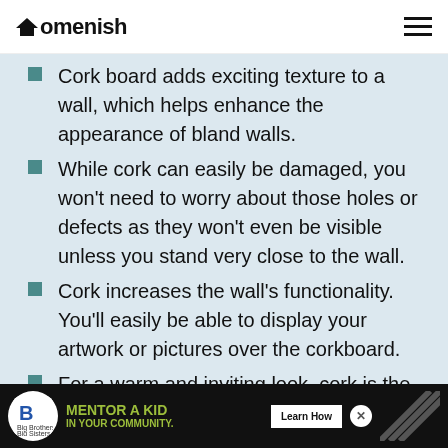Homenish
Cork board adds exciting texture to a wall, which helps enhance the appearance of bland walls.
While cork can easily be damaged, you won't need to worry about those holes or defects as they won't even be visible unless you stand very close to the wall.
Cork increases the wall's functionality. You'll easily be able to display your artwork or pictures over the corkboard.
For a warm and inviting look, cork is the answer. Not only does this material have
MENTOR A KID IN YOUR COMMUNITY. Learn How